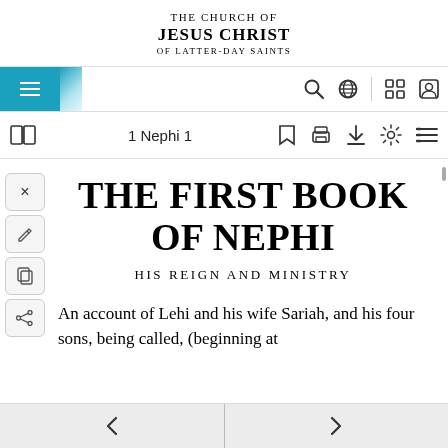THE CHURCH OF JESUS CHRIST OF LATTER-DAY SAINTS
[Figure (screenshot): Navigation bar with hamburger menu (teal background), search icon, globe icon, grid icon, and profile icon]
[Figure (screenshot): Toolbar with book icon, '1 Nephi 1' title, bookmark, print, download, settings, and list icons]
THE FIRST BOOK OF NEPHI
HIS REIGN AND MINISTRY
An account of Lehi and his wife Sariah, and his four sons, being called, (beginning at
[Figure (screenshot): Bottom navigation bar with left arrow and right arrow buttons]